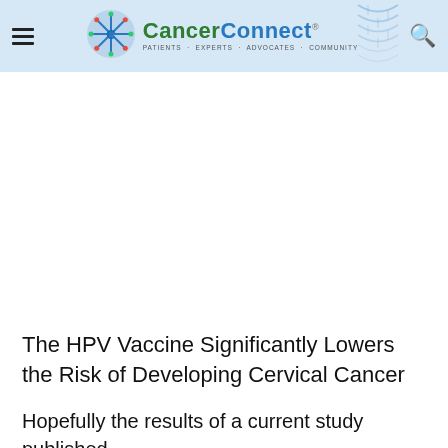CancerConnect — Patients · Experts · Advocates · Community
The HPV Vaccine Significantly Lowers the Risk of Developing Cervical Cancer
Hopefully the results of a current study published